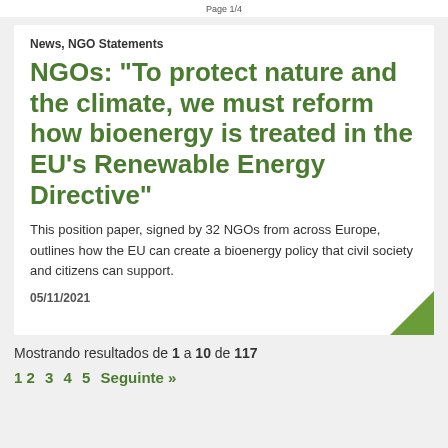Page 1/4
News, NGO Statements
NGOs: "To protect nature and the climate, we must reform how bioenergy is treated in the EU's Renewable Energy Directive"
This position paper, signed by 32 NGOs from across Europe, outlines how the EU can create a bioenergy policy that civil society and citizens can support.
05/11/2021
Mostrando resultados de 1 a 10 de 117
1 2 3 4 5 Seguinte »